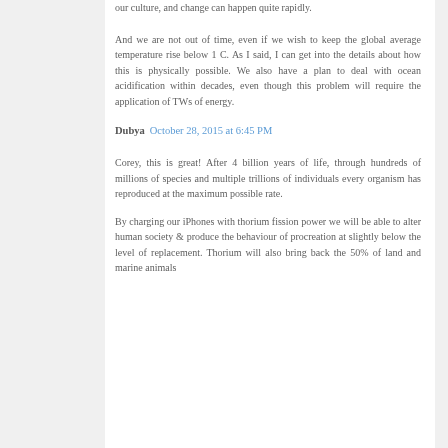our culture, and change can happen quite rapidly.
And we are not out of time, even if we wish to keep the global average temperature rise below 1 C. As I said, I can get into the details about how this is physically possible. We also have a plan to deal with ocean acidification within decades, even though this problem will require the application of TWs of energy.
Dubya  October 28, 2015 at 6:45 PM
Corey, this is great! After 4 billion years of life, through hundreds of millions of species and multiple trillions of individuals every organism has reproduced at the maximum possible rate.
By charging our iPhones with thorium fission power we will be able to alter human society & produce the behaviour of procreation at slightly below the level of replacement. Thorium will also bring back the 50% of land and marine animals